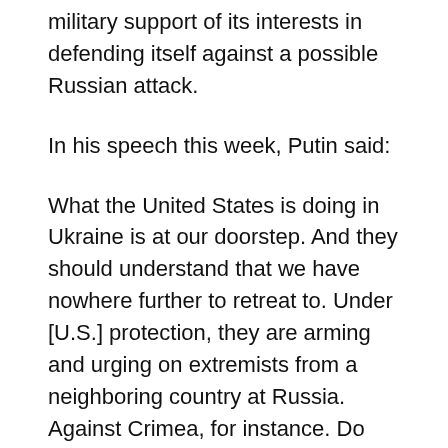military support of its interests in defending itself against a possible Russian attack.
In his speech this week, Putin said:
What the United States is doing in Ukraine is at our doorstep. And they should understand that we have nowhere further to retreat to. Under [U.S.] protection, they are arming and urging on extremists from a neighboring country at Russia. Against Crimea, for instance. Do they think we'll just watch idly?"
While Putin didn't specifically mention initiating an offensive military operation against Ukraine,